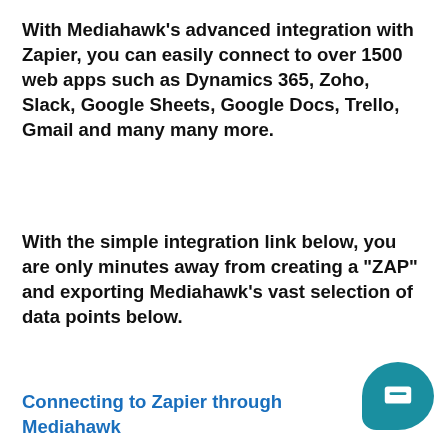With Mediahawk's advanced integration with Zapier, you can easily connect to over 1500 web apps such as Dynamics 365, Zoho, Slack, Google Sheets, Google Docs, Trello, Gmail and many many more.
With the simple integration link below, you are only minutes away from creating a "ZAP" and exporting Mediahawk's vast selection of data points below.
Connecting to Zapier through Mediahawk